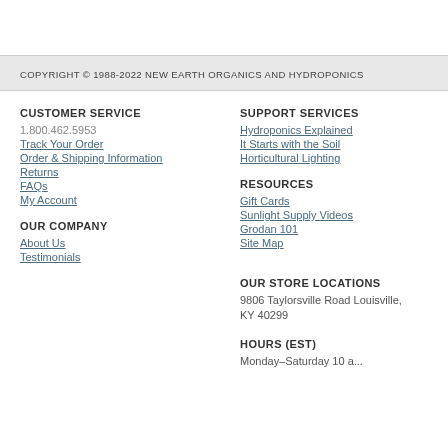COPYRIGHT © 1988-2022 NEW EARTH ORGANICS AND HYDROPONICS
CUSTOMER SERVICE
1.800.462.5953
Track Your Order
Order & Shipping Information
Returns
FAQs
My Account
OUR COMPANY
About Us
Testimonials
SUPPORT SERVICES
Hydroponics Explained
It Starts with the Soil
Horticultural Lighting
RESOURCES
Gift Cards
Sunlight Supply Videos
Grodan 101
Site Map
OUR STORE LOCATIONS
9806 Taylorsville Road Louisville, KY 40299
HOURS (EST)
Monday–Saturday 10 a...